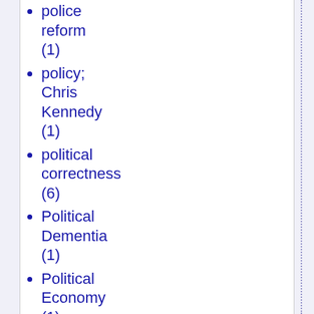police reform (1)
policy; Chris Kennedy (1)
political correctness (6)
Political Dementia (1)
Political Economy (1)
political economy (23)
Political Exile (1)
Political History (1)
political...